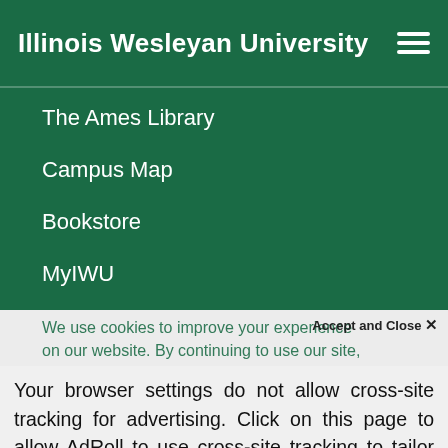Illinois Wesleyan University
The Ames Library
Campus Map
Bookstore
MyIWU
We use cookies to improve your experience on our website. By continuing to use our site,
Accept and Close ✕
Your browser settings do not allow cross-site tracking for advertising. Click on this page to allow AdRoll to use cross-site tracking to tailor ads to you. Learn more or opt out of this AdRoll tracking by clicking here. This message only appears once.